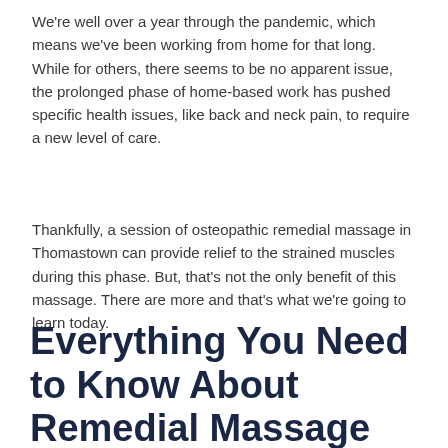We're well over a year through the pandemic, which means we've been working from home for that long. While for others, there seems to be no apparent issue, the prolonged phase of home-based work has pushed specific health issues, like back and neck pain, to require a new level of care.
Thankfully, a session of osteopathic remedial massage in Thomastown can provide relief to the strained muscles during this phase. But, that's not the only benefit of this massage. There are more and that's what we're going to learn today.
Everything You Need to Know About Remedial Massage